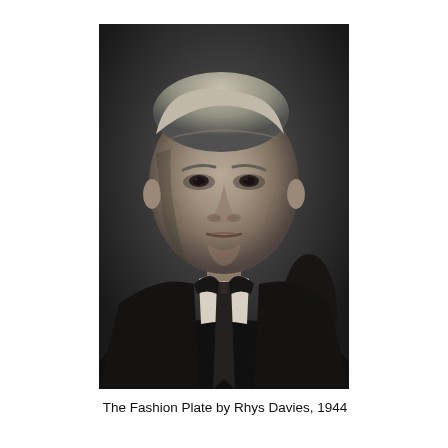[Figure (photo): Black and white portrait photograph of an elderly man wearing a dark suit, white shirt, and dark tie. He has grey hair swept back and is looking slightly toward the camera with a serious expression. There is a dark background with a faint object visible to the right.]
The Fashion Plate by Rhys Davies, 1944